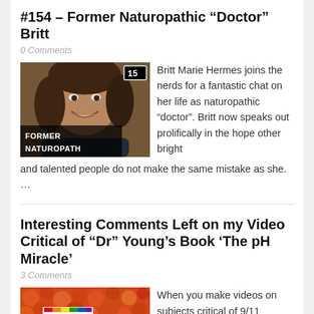#154 – Former Naturopathic “Doctor” Britt
0 Comments
[Figure (photo): Photo of Britt Marie Hermes smiling, with text overlay reading FORMER NATUROPATH and a number badge 15]
Britt Marie Hermes joins the nerds for a fantastic chat on her life as naturopathic “doctor”. Britt now speaks out prolifically in the hope other bright and talented people do not make the same mistake as she. …
Interesting Comments Left on my Video Critical of “Dr” Young’s Book ‘The pH Miracle’
3 Comments
[Figure (photo): Photo of orange/red tomatoes or berries background with a pH Miracle book cover in the foreground]
When you make videos on subjects critical of 9/11 conspiracy theorists, fact